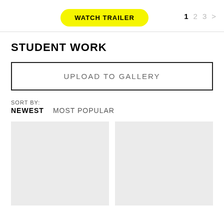WATCH TRAILER  1  2  3  >
STUDENT WORK
UPLOAD TO GALLERY
SORT BY:
NEWEST   MOST POPULAR
[Figure (photo): Two blank gray thumbnail placeholders side by side in a gallery grid]